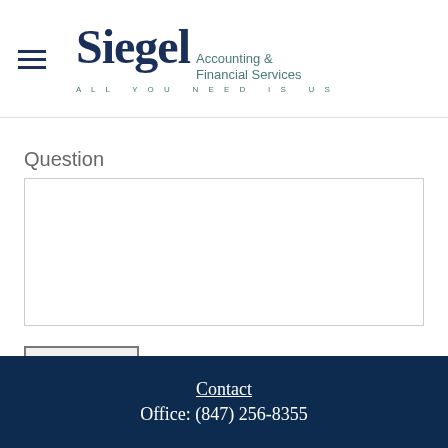Siegel Accounting & Financial Services — ALL YOU NEED IS US
Question
[text area input field]
SEND
Contact
Office: (847) 256-8355